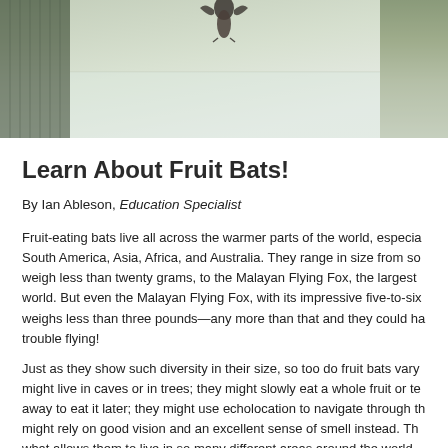[Figure (photo): Close-up photo of a bat hanging, with a light background suggesting an indoor or shelter environment. The bat's body is partially visible at the top center, with muted green-grey tones.]
Learn About Fruit Bats!
By Ian Ableson, Education Specialist
Fruit-eating bats live all across the warmer parts of the world, especially South America, Asia, Africa, and Australia. They range in size from so weigh less than twenty grams, to the Malayan Flying Fox, the largest world. But even the Malayan Flying Fox, with its impressive five-to-six weighs less than three pounds—any more than that and they could ha trouble flying!
Just as they show such diversity in their size, so too do fruit bats vary might live in caves or in trees; they might slowly eat a whole fruit or te away to eat it later; they might use echolocation to navigate through th might rely on good vision and an excellent sense of smell instead. Th what allows them to live in so many different areas around the world.